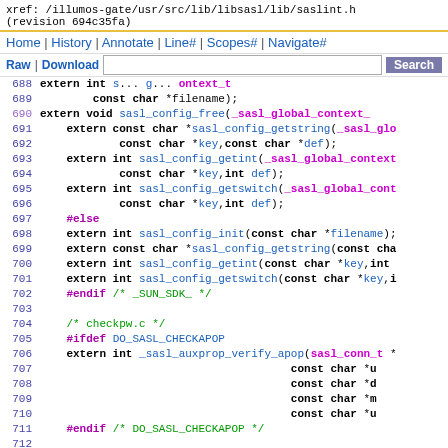xref: /illumos-gate/usr/src/lib/libsasl/lib/saslint.h
(revision 694c35fa)
Home | History | Annotate | Line# | Scopes# | Navigate#
Raw | Download | [search box] | Search
[Figure (screenshot): Source code viewer showing lines 688-712 of saslint.h header file with C function declarations]
688  extern int s... g... ontext_t
689       const char *filename);
690  extern void sasl_config_free(_sasl_global_context_
691      extern const char *sasl_config_getstring(_sasl_glo
692              const char *key,const char *def);
693      extern int sasl_config_getint(_sasl_global_context
694              const char *key,int def);
695      extern int sasl_config_getswitch(_sasl_global_cont
696              const char *key,int def);
697      #else
698      extern int sasl_config_init(const char *filename);
699      extern const char *sasl_config_getstring(const cha
700      extern int sasl_config_getint(const char *key,int
701      extern int sasl_config_getswitch(const char *key,i
702      #endif /* _SUN_SDK_ */
703
704      /* checkpw.c */
705      #ifdef DO_SASL_CHECKAPOP
706      extern int _sasl_auxprop_verify_apop(sasl_conn_t *
707                                            const char *u
708                                            const char *d
709                                            const char *m
710                                            const char *u
711      #endif /* DO_SASL_CHECKAPOP */
712